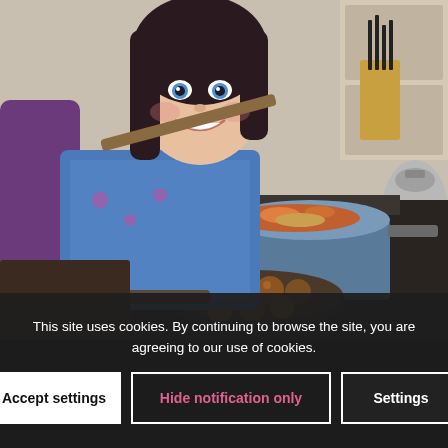[Figure (photo): A young girl with long dark hair and blue eyes, smiling and cooking on a stovetop. She is wearing a blue apron and holding a spatula over a large pot with food (pasta and vegetables). There is also a frying pan with meatballs on the front burner. A kettle and knife block are visible in the background.]
This site uses cookies. By continuing to browse the site, you are agreeing to our use of cookies.